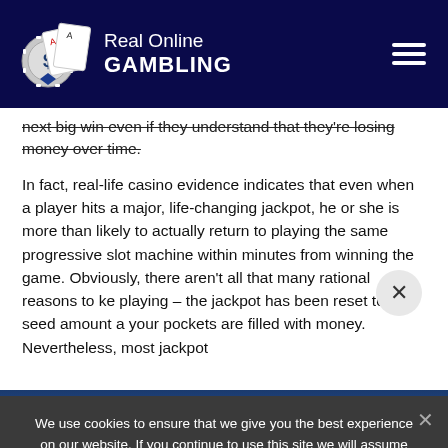[Figure (logo): Real Online Gambling logo with casino chip icon and hamburger menu]
next big win even if they understand that they're losing money over time.
In fact, real-life casino evidence indicates that even when a player hits a major, life-changing jackpot, he or she is more than likely to actually return to playing the same progressive slot machine within minutes from winning the game. Obviously, there aren't all that many rational reasons to keep playing – the jackpot has been reset to the seed amount and your pockets are filled with money. Nevertheless, most jackpot
500% UP TO $2500
We use cookies to ensure that we give you the best experience on our website. If you continue to use this site we will assume that you are happy with it.
Ok